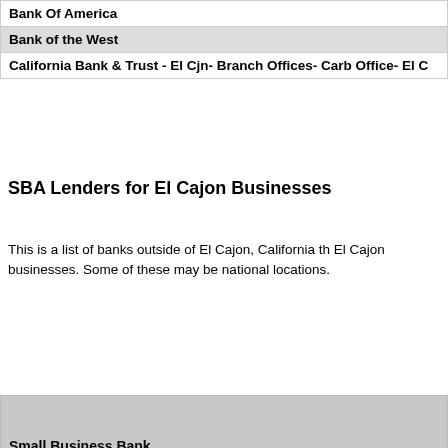| Small Business Bank |
| --- |
| Bank Of America |
| Bank of the West |
| California Bank & Trust - El Cjn- Branch Offices- Carb Office- El C |
SBA Lenders for El Cajon Businesses
This is a list of banks outside of El Cajon, California th El Cajon businesses. Some of these may be national locations.
| Small Business Bank |
| --- |
| 1st Pacific Bank Of California
San Diego, CA |
| 1st Pacific Bank Of California
Solana Beach, CA |
| Banco Popular North America
New York City, NY |
| Bank - America California
Rancho Cordova, CA |
| Bank Of America
Charlotte, NC |
| Bank Of The West
La Mesa, CA |
| Bank Of The West
Salt Lake City, UT |
| Borrego Springs Bank
Borrego Springs, CA |